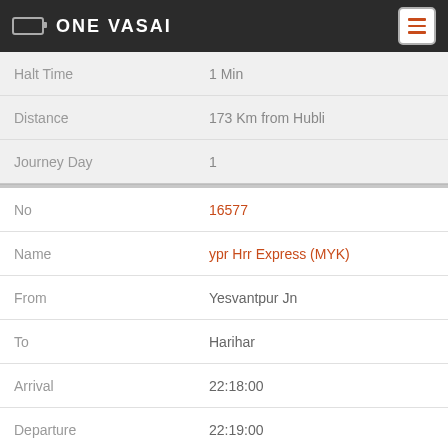ONE VASAI
| Field | Value |
| --- | --- |
| Halt Time | 1 Min |
| Distance | 173 Km from Hubli |
| Journey Day | 1 |
| No | 16577 |
| Name | ypr Hrr Express (MYK) |
| From | Yesvantpur Jn |
| To | Harihar |
| Arrival | 22:18:00 |
| Departure | 22:19:00 |
| DaysOfWeek | Tu W Th |
| Halt Time | 1 Min |
| Distance | 292 Km from Yesvantpur Jn |